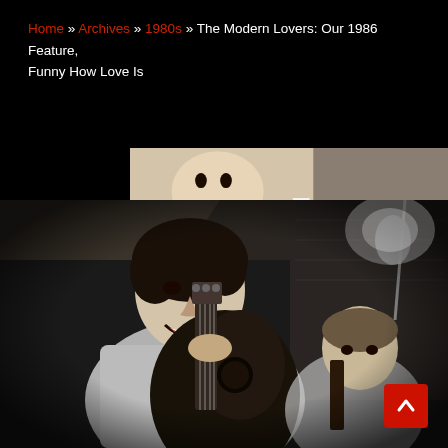Home » Archives » 1980s » The Modern Lovers: Our 1986 Feature, Funny How Love Is
[Figure (photo): Advertisement banner showing a bald woman reading a purple book with text 'That reading feeling awaits' on a tan/beige background]
[Figure (photo): Black and white photograph of a young man smiling and playing an acoustic guitar on stage, with another musician visible in the background also playing guitar, and a microphone stand visible on the right]